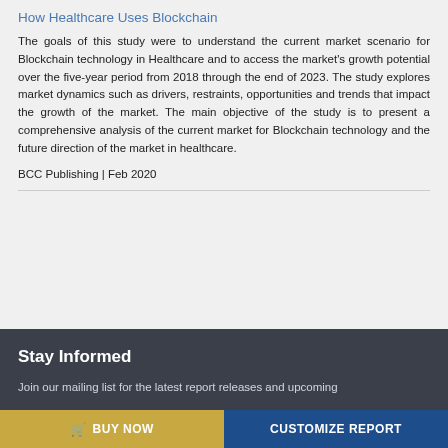How Healthcare Uses Blockchain
The goals of this study were to understand the current market scenario for Blockchain technology in Healthcare and to access the market's growth potential over the five-year period from 2018 through the end of 2023. The study explores market dynamics such as drivers, restraints, opportunities and trends that impact the growth of the market. The main objective of the study is to present a comprehensive analysis of the current market for Blockchain technology and the future direction of the market in healthcare.
BCC Publishing | Feb 2020
Stay Informed
Join our mailing list for the latest report releases and upcoming
BUY NOW   CUSTOMIZE REPORT